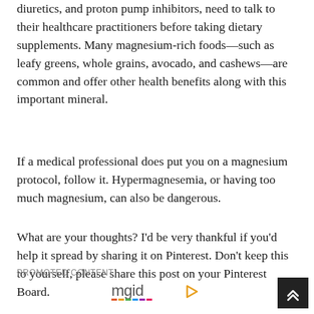diuretics, and proton pump inhibitors, need to talk to their healthcare practitioners before taking dietary supplements. Many magnesium-rich foods—such as leafy greens, whole grains, avocado, and cashews—are common and offer other health benefits along with this important mineral.
If a medical professional does put you on a magnesium protocol, follow it. Hypermagnesemia, or having too much magnesium, can also be dangerous.
What are your thoughts? I'd be very thankful if you'd help it spread by sharing it on Pinterest. Don't keep this to yourself, please share this post on your Pinterest Board.
PROMOTED CONTENT